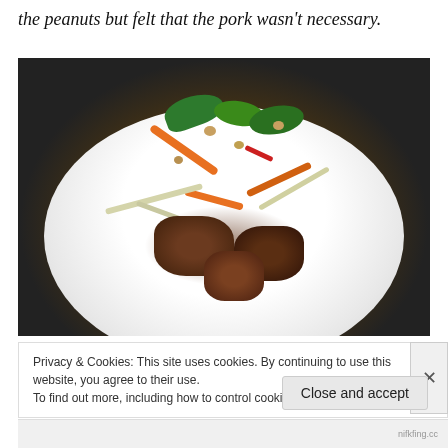the peanuts but felt that the pork wasn't necessary.
[Figure (photo): A plate of Asian salad with pork, bean sprouts, orange carrots, green herbs, peanuts, red chili, and dark sauce, served on a white round plate against a dark background.]
Privacy & Cookies: This site uses cookies. By continuing to use this website, you agree to their use.
To find out more, including how to control cookies, see here: Cookie Policy
Close and accept